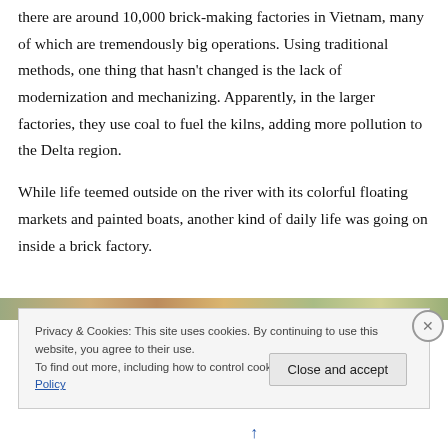there are around 10,000 brick-making factories in Vietnam, many of which are tremendously big operations. Using traditional methods, one thing that hasn’t changed is the lack of modernization and mechanizing. Apparently, in the larger factories, they use coal to fuel the kilns, adding more pollution to the Delta region.
While life teemed outside on the river with its colorful floating markets and painted boats, another kind of daily life was going on inside a brick factory.
[Figure (photo): Partial view of a photo showing a brick factory or river scene, cropped at top of cookie banner]
Privacy & Cookies: This site uses cookies. By continuing to use this website, you agree to their use.
To find out more, including how to control cookies, see here: Cookie Policy